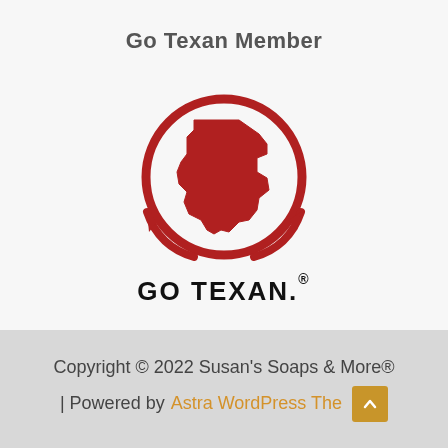Go Texan Member
[Figure (logo): Go Texan logo: red circular emblem with Texas state outline and swoosh design, with bold text GO TEXAN. below]
Copyright © 2022 Susan's Soaps & More® | Powered by Astra WordPress Theme